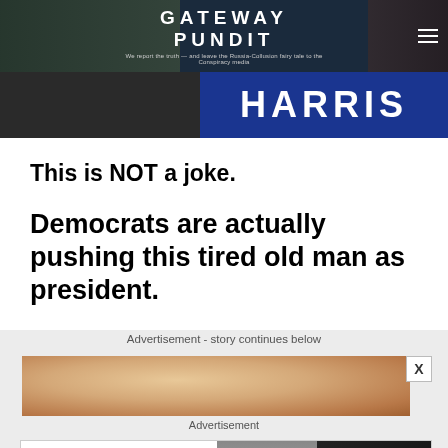GATEWAY PUNDIT — We report the truth — and leave the Russia-Collusion fairy tale to the Conspiracy media
[Figure (photo): Harris campaign banner/sign with white text on blue background]
This is NOT a joke.
Democrats are actually pushing this tired old man as president.
Advertisement - story continues below
[Figure (photo): Close-up photo of elderly man's face]
Advertisement
[Figure (photo): Capitol Punishment advertisement — JOIN OVER 85,000 OTHER PEOPLE WHO LEARNED THE TRUTH ABOUT THE JANUARY 6TH CAPITOL. WATCH NOW. PRO-TRUMP MOBS STORM US CAPITOL. JANUARY 6 WAS YEARS IN THE MAKING AND THE THREAT TO THE SURVIVAL OF AMERICA AS WE KNOW IT HAS NEVER BEEN GREATER.]